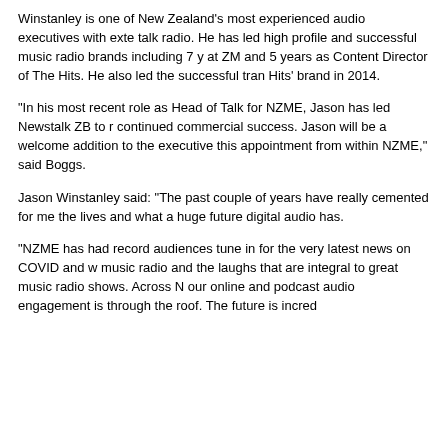Winstanley is one of New Zealand's most experienced audio executives with extensive experience in talk radio. He has led high profile and successful music radio brands including 7 years as Programme Director at ZM and 5 years as Content Director of The Hits. He also led the successful transformation of 'The Hits' brand in 2014.
"In his most recent role as Head of Talk for NZME, Jason has led Newstalk ZB to record ratings and continued commercial success. Jason will be a welcome addition to the executive team and we're thrilled to make this appointment from within NZME," said Boggs.
Jason Winstanley said: "The past couple of years have really cemented for me the role audio plays in people's lives and what a huge future digital audio has.
"NZME has had record audiences tune in for the very latest news on COVID and we've also seen the joy of music radio and the laughs that are integral to great music radio shows. Across NZME's audio offerings, our online and podcast audio engagement is through the roof. The future is incredibly exciting."